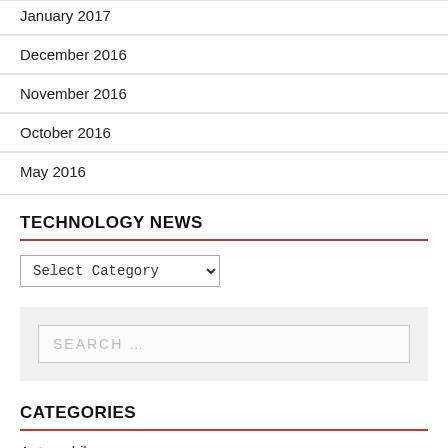January 2017
December 2016
November 2016
October 2016
May 2016
TECHNOLOGY NEWS
Select Category (dropdown)
SEARCH ...
CATEGORIES
Automobile